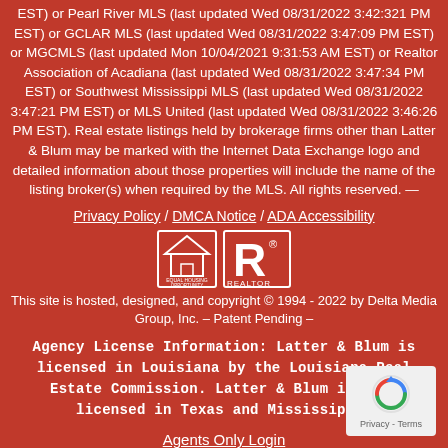EST) or Pearl River MLS (last updated Wed 08/31/2022 3:42:321 PM EST) or GCLAR MLS (last updated Wed 08/31/2022 3:47:09 PM EST) or MGCMLS (last updated Mon 10/04/2021 9:31:53 AM EST) or Realtor Association of Acadiana (last updated Wed 08/31/2022 3:47:34 PM EST) or Southwest Mississippi MLS (last updated Wed 08/31/2022 3:47:21 PM EST) or MLS United (last updated Wed 08/31/2022 3:46:26 PM EST). Real estate listings held by brokerage firms other than Latter & Blum may be marked with the Internet Data Exchange logo and detailed information about those properties will include the name of the listing broker(s) when required by the MLS. All rights reserved. —
Privacy Policy / DMCA Notice / ADA Accessibility
[Figure (logo): Equal Housing Opportunity logo and Realtor logo side by side]
This site is hosted, designed, and copyright © 1994 - 2022 by Delta Media Group, Inc. -- Patent Pending --
Agency License Information: Latter & Blum is licensed in Louisiana by the Louisiana Real Estate Commission. Latter & Blum is also licensed in Texas and Mississippi.
Agents Only Login
[Figure (logo): reCAPTCHA badge showing Privacy - Terms]